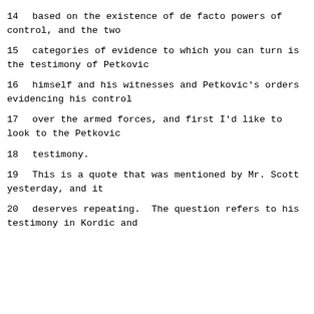14     based on the existence of de facto powers of control, and the two
15     categories of evidence to which you can turn is the testimony of Petkovic
16     himself and his witnesses and Petkovic's orders evidencing his control
17     over the armed forces, and first I'd like to look to the Petkovic
18     testimony.
19             This is a quote that was mentioned by Mr. Scott yesterday, and it
20     deserves repeating.  The question refers to his testimony in Kordic and